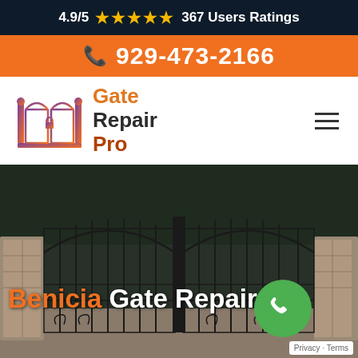4.9/5 ★★★★★ 367 Users Ratings
929-473-2166
[Figure (logo): Gate Repair Pro logo with stylized gate icon in orange/purple gradient and company name]
[Figure (photo): Ornamental iron double gate at a luxury home driveway with stone pillars and trees, with overlay text 'Benicia Gate Repair' and a green phone call button]
Privacy · Terms